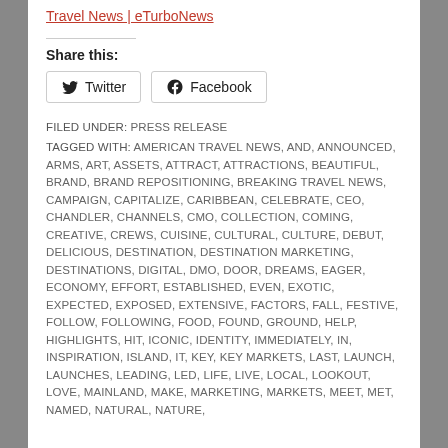Travel News | eTurboNews
Share this:
Twitter  Facebook
FILED UNDER: PRESS RELEASE
TAGGED WITH: AMERICAN TRAVEL NEWS, AND, ANNOUNCED, ARMS, ART, ASSETS, ATTRACT, ATTRACTIONS, BEAUTIFUL, BRAND, BRAND REPOSITIONING, BREAKING TRAVEL NEWS, CAMPAIGN, CAPITALIZE, CARIBBEAN, CELEBRATE, CEO, CHANDLER, CHANNELS, CMO, COLLECTION, COMING, CREATIVE, CREWS, CUISINE, CULTURAL, CULTURE, DEBUT, DELICIOUS, DESTINATION, DESTINATION MARKETING, DESTINATIONS, DIGITAL, DMO, DOOR, DREAMS, EAGER, ECONOMY, EFFORT, ESTABLISHED, EVEN, EXOTIC, EXPECTED, EXPOSED, EXTENSIVE, FACTORS, FALL, FESTIVE, FOLLOW, FOLLOWING, FOOD, FOUND, GROUND, HELP, HIGHLIGHTS, HIT, ICONIC, IDENTITY, IMMEDIATELY, IN, INSPIRATION, ISLAND, IT, KEY, KEY MARKETS, LAST, LAUNCH, LAUNCHES, LEADING, LED, LIFE, LIVE, LOCAL, LOOKOUT, LOVE, MAINLAND, MAKE, MARKETING, MARKETS, MEET, MET, NAMED, NATURAL, NATURE,